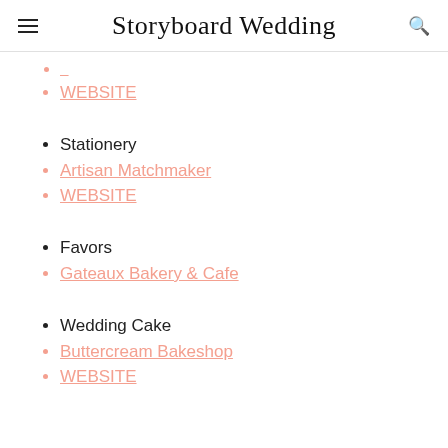Storyboard Wedding
WEBSITE
Stationery
Artisan Matchmaker
WEBSITE
Favors
Gateaux Bakery & Cafe
Wedding Cake
Buttercream Bakeshop
WEBSITE